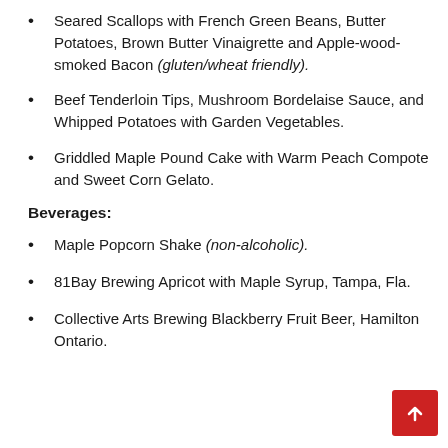Seared Scallops with French Green Beans, Butter Potatoes, Brown Butter Vinaigrette and Apple-wood-smoked Bacon (gluten/wheat friendly).
Beef Tenderloin Tips, Mushroom Bordelaise Sauce, and Whipped Potatoes with Garden Vegetables.
Griddled Maple Pound Cake with Warm Peach Compote and Sweet Corn Gelato.
Beverages:
Maple Popcorn Shake (non-alcoholic).
81Bay Brewing Apricot with Maple Syrup, Tampa, Fla.
Collective Arts Brewing Blackberry Fruit Beer, Hamilton Ontario.